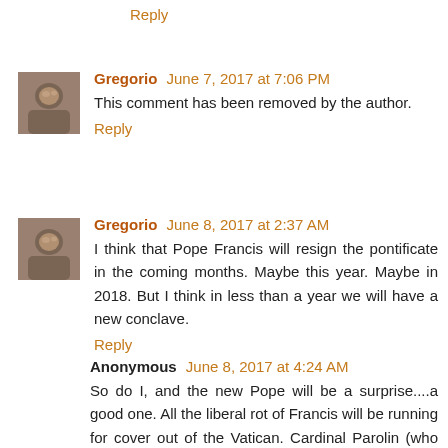Reply
Gregorio  June 7, 2017 at 7:06 PM
This comment has been removed by the author.
Reply
Gregorio  June 8, 2017 at 2:37 AM
I think that Pope Francis will resign the pontificate in the coming months. Maybe this year. Maybe in 2018. But I think in less than a year we will have a new conclave.
Reply
Anonymous  June 8, 2017 at 4:24 AM
So do I, and the new Pope will be a surprise....a good one. All the liberal rot of Francis will be running for cover out of the Vatican. Cardinal Parolin (who already sees himself as Pope), will be demoted to scrubbing floors and cleaning